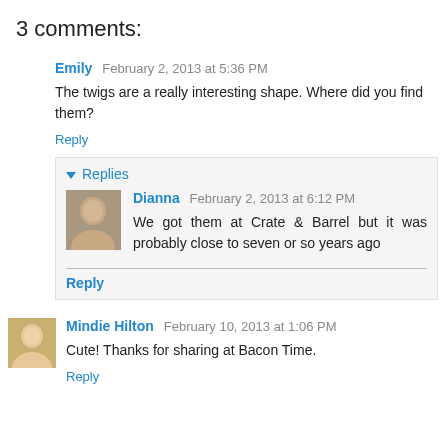3 comments:
Emily  February 2, 2013 at 5:36 PM
The twigs are a really interesting shape. Where did you find them?
Reply
Replies
Dianna  February 2, 2013 at 6:12 PM
We got them at Crate & Barrel but it was probably close to seven or so years ago
Reply
Mindie Hilton  February 10, 2013 at 1:06 PM
Cute! Thanks for sharing at Bacon Time.
Reply